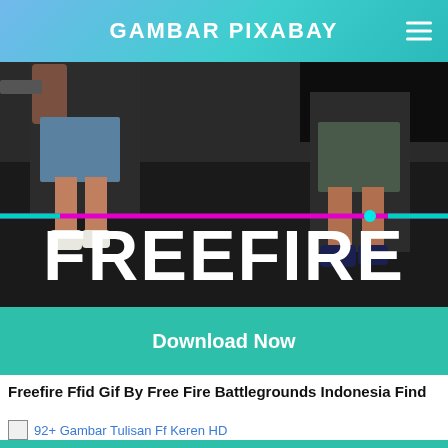GAMBAR PIXABAY
[Figure (screenshot): Freefire game promotional image showing character legs and large white FREEFIRE text overlay on dark background with magenta/cyan neon line]
Download Now
Freefire Ffid Gif By Free Fire Battlegrounds Indonesia Find
92+ Gambar Tulisan Ff Keren HD